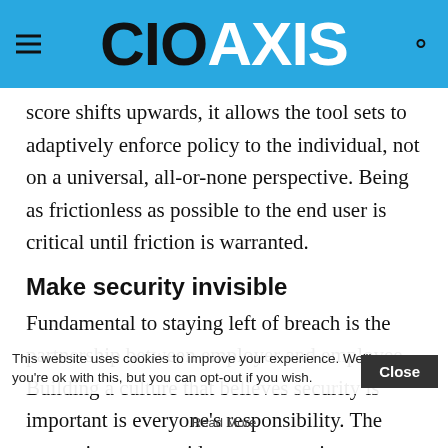CIO AXIS
score shifts upwards, it allows the tool sets to adaptively enforce policy to the individual, not on a universal, all-or-none perspective. Being as frictionless as possible to the end user is critical until friction is warranted.
Make security invisible
Fundamental to staying left of breach is the partnership between employer and employee. Building a culture that believes security is important is everyone's responsibility. The enterprise can provide a user experience around security that is as seamless as the ones employees
This website uses cookies to improve your experience. We'll assume you're ok with this, but you can opt-out if you wish.
Close
Read More